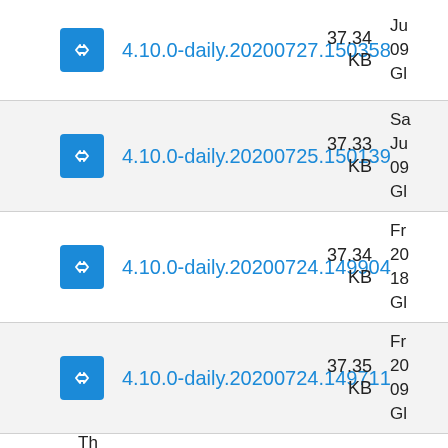|  | Name | Size | Date |
| --- | --- | --- | --- |
| [icon] | 4.10.0-daily.20200727.150358 | 37.34 KB | Ju
09
Gl |
| [icon] | 4.10.0-daily.20200725.150139 | 37.33 KB | Sa
Ju
09
Gl |
| [icon] | 4.10.0-daily.20200724.149904 | 37.34 KB | Fr
20
18
Gl |
| [icon] | 4.10.0-daily.20200724.149711 | 37.35 KB | Fr
20
09
Gl |